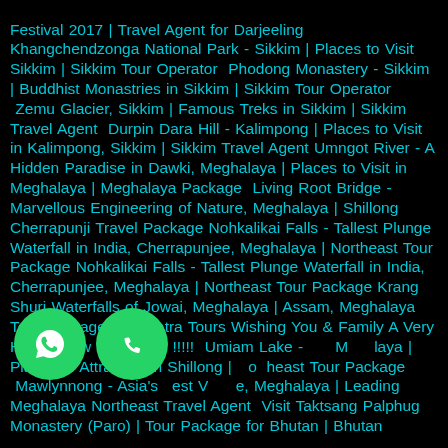Festival 2017 | Travel Agent for Darjeeling Khangchendzonga National Park - Sikkim | Places to Visit Sikkim | Sikkim Tour Operator  Phodong Monastery - Sikkim | Buddhist Monastries in Sikkim | Sikkim Tour Operator  Zemu Glacier, Sikkim | Famous Treks in Sikkim | Sikkim Travel Agent  Durpin Dara Hill - Kalimpong | Places to Visit in Kalimpong, Sikkim | Sikkim Travel Agent Umngot River - A Hidden Paradise in Dawki, Meghalaya | Places to Visit in Meghalaya | Meghalaya Package  Living Root Bridge - Marvellous Engineering of Nature, Meghalaya | Shillong Cherrapunji Travel Package Nohkalikai Falls - Tallest Plunge Waterfall in India, Cherrapunjee, Meghalaya | Northeast Tour Package Nohkalikai Falls - Tallest Plunge Waterfall in India, Cherrapunjee, Meghalaya | Northeast Tour Package Krang Shuri Waterfalls of Jowai, Meghalaya | Assam, Meghalaya Tour Package  Samyatra Tours Wishing You & Family A Very Happy New Year 2018 !!!!!  Umiam Lake - ng, Meghalaya | Places of Attraction in Shillong | Northeast Tour Package  Mawlynnong - Asia's est Village, Meghalaya | Leading Meghalaya Northeast Travel Agent  Visit Taktsang Palphug Monastery (Paro) | Tour Package for Bhutan | Bhutan
[Figure (illustration): Two green circular icon buttons: a WhatsApp icon (speech bubble with phone) and a phone call icon (telephone handset)]